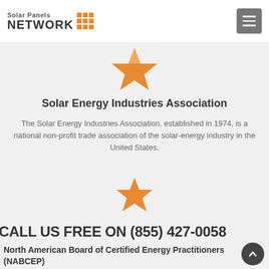Solar Panels NETWORK
[Figure (illustration): Orange star icon (first), large, centered above SEIA section]
Solar Energy Industries Association
The Solar Energy Industries Association, established in 1974, is a national non-profit trade association of the solar-energy industry in the United States.
[Figure (illustration): Orange star icon (second), medium, centered above NABCEP section]
CALL US FREE ON (855) 427-0058
North American Board of Certified Energy Practitioners (NABCEP)